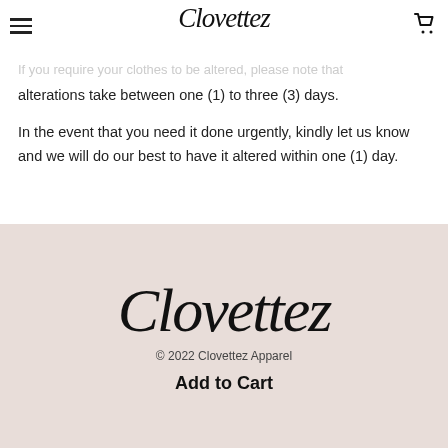Clovettez
Alterations
If you require your clothes to be altered, please note that alterations take between one (1) to three (3) days.
In the event that you need it done urgently, kindly let us know and we will do our best to have it altered within one (1) day.
[Figure (logo): Clovettez script logo in large cursive font on pink/beige background]
© 2022 Clovettez Apparel
Add to Cart